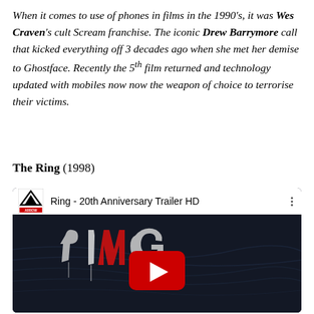When it comes to use of phones in films in the 1990's, it was Wes Craven's cult Scream franchise. The iconic Drew Barrymore call that kicked everything off 3 decades ago when she met her demise to Ghostface. Recently the 5th film returned and technology updated with mobiles now now the weapon of choice to terrorise their victims.
The Ring (1998)
[Figure (screenshot): YouTube video embed showing 'Ring - 20th Anniversary Trailer HD' by Arrow Video. Dark thumbnail with stylized 'RING' text in red and white on a dark blue/black background with a red YouTube play button in the center.]